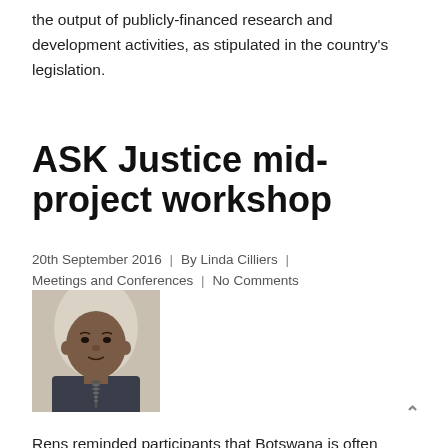the output of publicly-financed research and development activities, as stipulated in the country's legislation.
ASK Justice mid-project workshop
20th September 2016  |  By Linda Cilliers  |  Meetings and Conferences  |  No Comments
[Figure (photo): Headshot photo of a man in a dark shirt and striped tie against a light background]
Rens reminded participants that Botswana is often